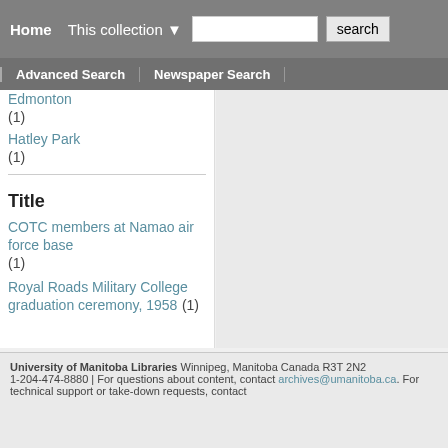Home | This collection ▼ | [search input] | search
Advanced Search | Newspaper Search
Edmonton (1)
Hatley Park (1)
Title
COTC members at Namao air force base (1)
Royal Roads Military College graduation ceremony, 1958 (1)
University of Manitoba Libraries Winnipeg, Manitoba Canada R3T 2N2 1-204-474-8880 | For questions about content, contact archives@umanitoba.ca. For technical support or take-down requests, contact